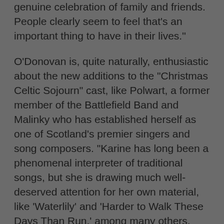genuine celebration of family and friends. People clearly seem to feel that's an important thing to have in their lives."
O'Donovan is, quite naturally, enthusiastic about the new additions to the "Christmas Celtic Sojourn" cast, like Polwart, a former member of the Battlefield Band and Malinky who has established herself as one of Scotland's premier singers and song composers. "Karine has long been a phenomenal interpreter of traditional songs, but she is drawing much well-deserved attention for her own material, like 'Waterlily' and 'Harder to Walk These Days Than Run,' among many others. There's a very honest interest in, and concern for, the human condition throughout her music, and that's a lot of what 'Christmas Celtic Sojourn' is about."
The Carroll-Doyle partnership has been one of the